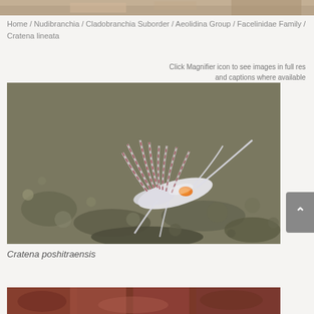[Figure (photo): Top image strip showing partial view of a nudibranch or marine creature]
Home / Nudibranchia / Cladobranchia Suborder / Aeolidina Group / Facelinidae Family / Cratena lineata
Click Magnifier icon to see images in full res and captions where available
[Figure (photo): Macro photograph of Cratena poshitraensis nudibranch on sandy substrate, showing white body with red-striped cerata and orange coloring]
Cratena poshitraensis
[Figure (photo): Bottom partial image strip showing reddish marine scene]